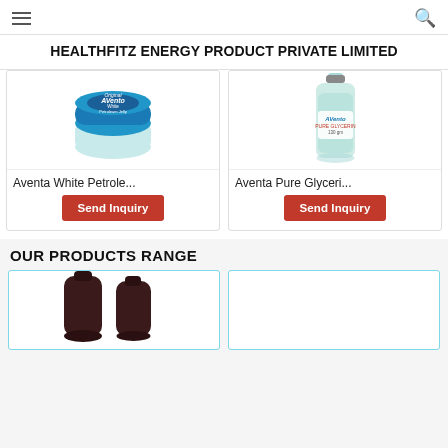HEALTHFITZ ENERGY PRODUCT PRIVATE LIMITED
[Figure (photo): Aventa White Petroleum Jelly product - round blue lidded jar with white cream visible]
Aventa White Petrole...
Send Inquiry
[Figure (photo): Aventa Pure Glycerin product - clear bottle with green tinted liquid and Aventa label]
Aventa Pure Glyceri...
Send Inquiry
OUR PRODUCTS RANGE
[Figure (photo): Two dark brown/black cylindrical or tapered containers/bottles side by side]